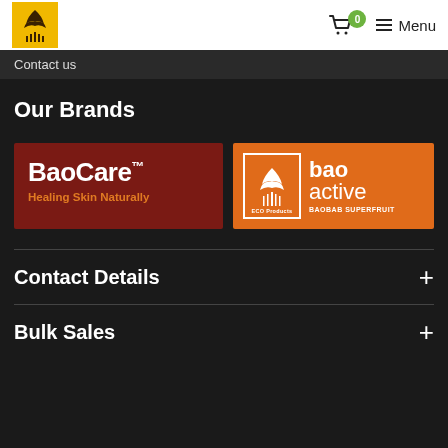BaoCare logo | Cart 0 | Menu
Contact us
Our Brands
[Figure (logo): BaoCare brand logo — dark red background, white text 'BaoCare™', orange tagline 'Healing Skin Naturally']
[Figure (logo): bao active brand logo — orange background, white tree illustration in bordered box with 'ECO Products', bold text 'bao active', 'BAOBAB SUPERFRUIT']
Contact Details
Bulk Sales